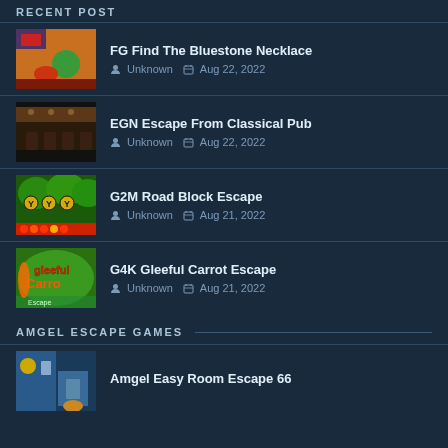RECENT POST
FG Find The Bluestone Necklace | Unknown | Aug 22, 2022
EGN Escape From Classical Pub | Unknown | Aug 22, 2022
G2M Road Block Escape | Unknown | Aug 21, 2022
G4K Gleeful Carrot Escape | Unknown | Aug 21, 2022
AMGEL ESCAPE GAMES
Amgel Easy Room Escape 66